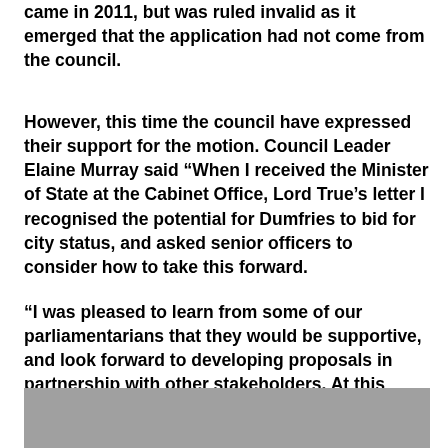came in 2011, but was ruled invalid as it emerged that the application had not come from the council.
However, this time the council have expressed their support for the motion. Council Leader Elaine Murray said “When I received the Minister of State at the Cabinet Office, Lord True’s letter I recognised the potential for Dumfries to bid for city status, and asked senior officers to consider how to take this forward.
“I was pleased to learn from some of our parliamentarians that they would be supportive, and look forward to developing proposals in partnership with other stakeholders. At this expression of interest stage, we are looking at what an application would mean for Dumfries and the region.”
[Figure (photo): Partially visible image at the bottom of the page, showing a grey/dark rectangular area.]